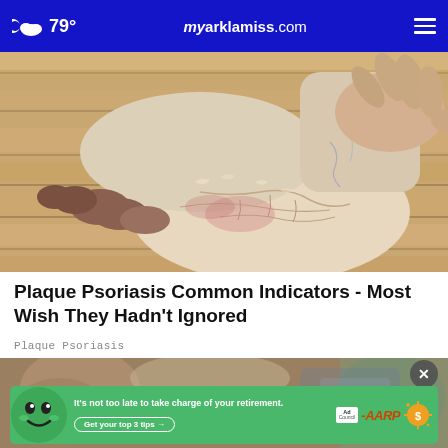79° myarklamiss.com
[Figure (photo): Close-up photo of a human foot with dry, cracked, flaky skin on the heel and sole, indicative of plaque psoriasis, resting on a wooden floor surface.]
Plaque Psoriasis Common Indicators - Most Wish They Hadn't Ignored
Plaque Psoriasis
[Figure (photo): Partial image of second article photo, partially obscured by an AARP advertisement banner.]